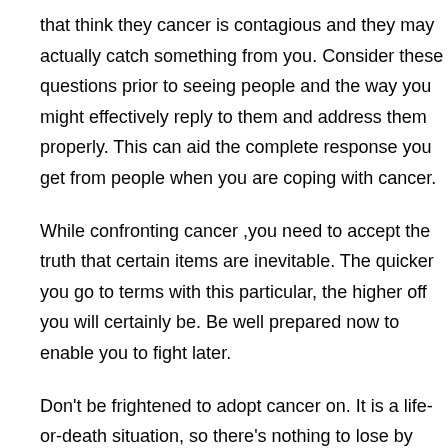that think they cancer is contagious and they may actually catch something from you. Consider these questions prior to seeing people and the way you might effectively reply to them and address them properly. This can aid the complete response you get from people when you are coping with cancer.
While confronting cancer ,you need to accept the truth that certain items are inevitable. The quicker you go to terms with this particular, the higher off you will certainly be. Be well prepared now to enable you to fight later.
Don't be frightened to adopt cancer on. It is a life-or-death situation, so there's nothing to lose by giving every last little effort to survive.
When...